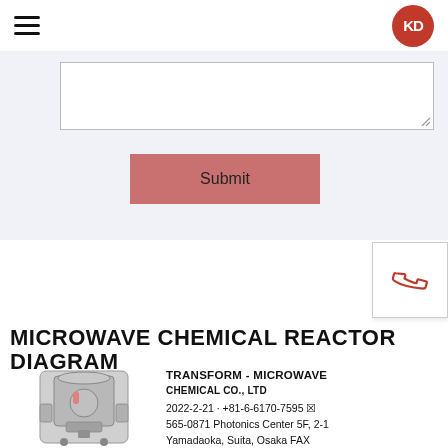KD (logo)
[Figure (screenshot): Textarea input box with resize handle, part of a web form on a light blue/grey background]
[Figure (screenshot): Submit button, pink/rose colored, centered below the textarea]
[Figure (screenshot): Phone icon widget, white box with a red phone icon, positioned at right edge]
MICROWAVE CHEMICAL REACTOR DIAGRAM
[Figure (photo): Photograph of a stainless steel microwave chemical reactor unit/machine]
TRANSFORM - MICROWAVE CHEMICAL CO., LTD
2022-2-21 · +81-6-6170-7595 
565-0871 Photonics Center 5F, 2-1 Yamadaoka, Suita, Osaka FAX +81-6-6170-7596